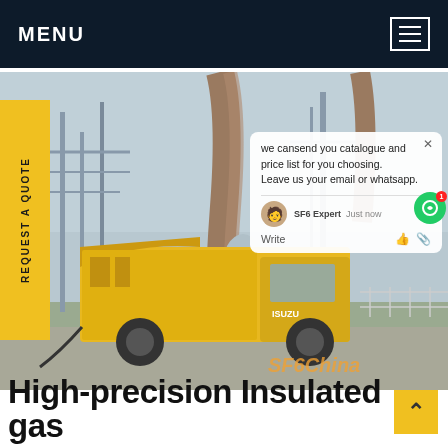MENU
[Figure (photo): Yellow ISUZU utility truck parked at a high-voltage electrical substation with transmission towers and large insulated cables/bushings visible in the background. SF6 gas service equipment visible. Chat popup overlay showing text: 'we cansend you catalogue and price list for you choosing. Leave us your email or whatsapp.' with SF6 Expert chat interface.]
we cansend you catalogue and price list for you choosing. Leave us your email or whatsapp.
SF6 Expert    Just now
Write
SF6China
REQUEST A QUOTE
High-precision Insulated gas